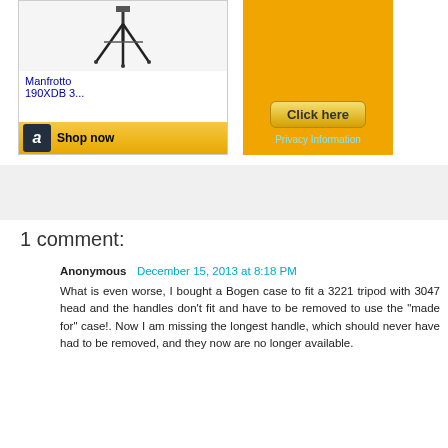[Figure (screenshot): Amazon ad showing Manfrotto 190XDB 3... tripod with Shop now button]
[Figure (screenshot): Orange advertisement with Click here button and Privacy Information link]
[Figure (screenshot): Gray banner ad area]
1 comment:
Anonymous December 15, 2013 at 8:18 PM
What is even worse, I bought a Bogen case to fit a 3221 tripod with 3047 head and the handles don't fit and have to be removed to use the "made for" case!. Now I am missing the longest handle, which should never have had to be removed, and they now are no longer available.